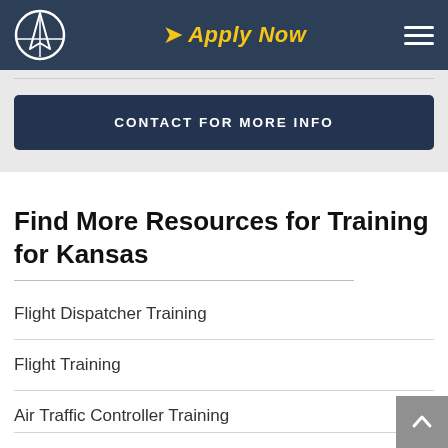Apply Now
CONTACT FOR MORE INFO
Find More Resources for Training for Kansas
Flight Dispatcher Training
Flight Training
Air Traffic Controller Training